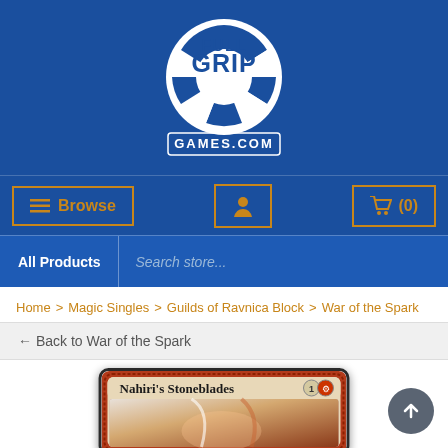[Figure (logo): Full Grip Games logo — white circular grip icon with FULL GRIP GAMES.COM text on blue background]
[Figure (screenshot): Navigation bar with Browse button, user icon, and cart (0) button on blue background]
[Figure (screenshot): Search bar with All Products filter and Search store... placeholder]
Home > Magic Singles > Guilds of Ravnica Block > War of the Spark
← Back to War of the Spark
[Figure (photo): Magic: The Gathering card - Nahiri's Stoneblades, partially visible, red border card with white/red art]